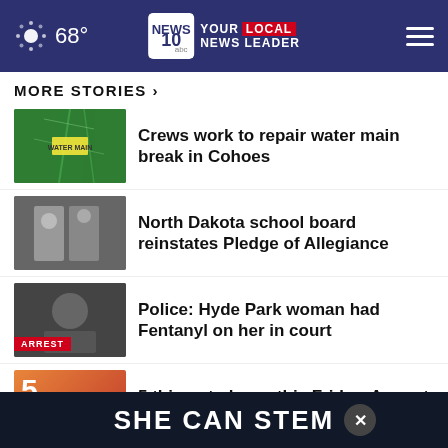68° NEWS10 YOUR LOCAL NEWS LEADER
MORE STORIES ›
Crews work to repair water main break in Cohoes
North Dakota school board reinstates Pledge of Allegiance
Police: Hyde Park woman had Fentanyl on her in court
5 things to know this Friday, August 19
Hudson Falls PD looking for missing...
Nott Street safety improvement
SHE CAN STEM